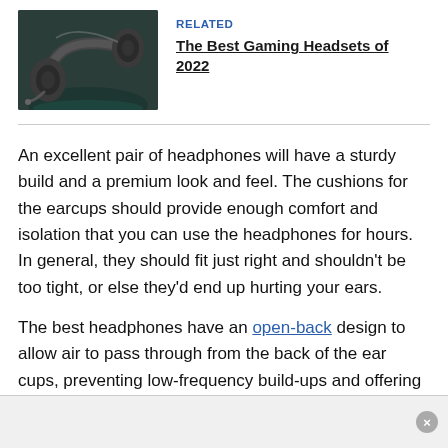[Figure (photo): A gaming headset (dark/black) on a dark background, photographed from a slight angle showing the headband and earcup with microphone.]
RELATED
The Best Gaming Headsets of 2022
An excellent pair of headphones will have a sturdy build and a premium look and feel. The cushions for the earcups should provide enough comfort and isolation that you can use the headphones for hours. In general, they should fit just right and shouldn't be too tight, or else they'd end up hurting your ears.
The best headphones have an open-back design to allow air to pass through from the back of the ear cups, preventing low-frequency build-ups and offering a more